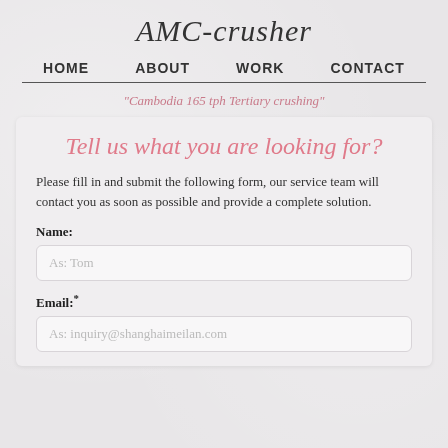AMC-crusher
HOME   ABOUT   WORK   CONTACT
"Cambodia 165 tph Tertiary crushing"
Tell us what you are looking for?
Please fill in and submit the following form, our service team will contact you as soon as possible and provide a complete solution.
Name:
As: Tom
Email:*
As: inquiry@shanghaimeilan.com